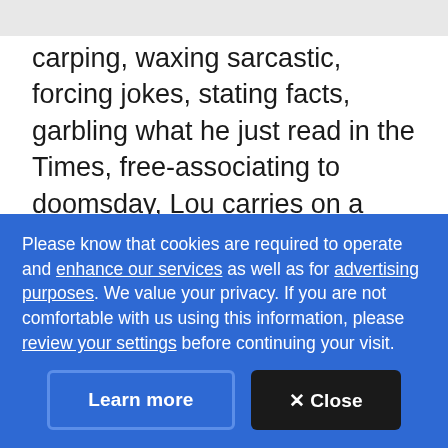carping, waxing sarcastic, forcing jokes, stating facts, garbling what he just read in the Times, free-associating to doomsday, Lou carries on a New York conversation — all that's missing is a disquisition on real estate."
He was one of rock's archetypal tough guys, but he grew up middle class — an accountant's son raised on [cut off]
Please know that cookies are required to operate and enhance our services as well as for advertising purposes. We value your privacy. If you are not comfortable with us using this information, please review your settings before continuing your visit.